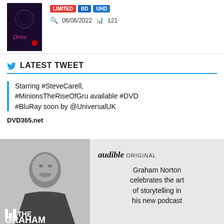[Figure (photo): Movie poster thumbnail for 'Drive' with dark purple/black background and pink italic text]
LIMITED BD UHD
06/06/2022  121
LATEST TWEET
Starring #SteveCarell, #MinionsTheRiseOfGru available #DVD #BluRay soon by @UniversalUK
DVD365.net
[Figure (photo): Audible Original advertisement featuring Graham Norton in black and white photo. Text reads: audible ORIGINAL, Graham Norton celebrates the art of storytelling in his new podcast. THE GRAHAM logo visible at bottom.]